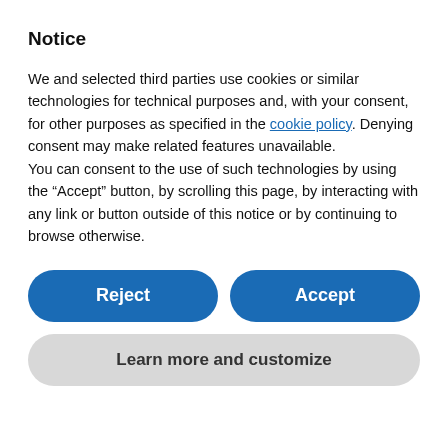Notice
We and selected third parties use cookies or similar technologies for technical purposes and, with your consent, for other purposes as specified in the cookie policy. Denying consent may make related features unavailable.
You can consent to the use of such technologies by using the “Accept” button, by scrolling this page, by interacting with any link or button outside of this notice or by continuing to browse otherwise.
Reject
Accept
Learn more and customize
responsibility for the adequacy or accuracy of this release. This information release contains certain forward-looking information, including about the timing and completion of the Offering, the receipt of